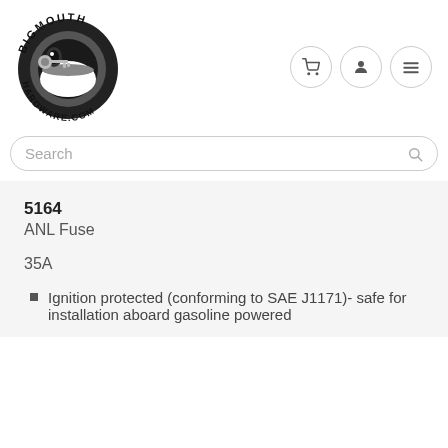[Figure (logo): BigMouth Hardware.com logo - cartoon tire with teeth and a key]
5164
ANL Fuse
35A
Ignition protected (conforming to SAE J1171)- safe for installation aboard gasoline powered